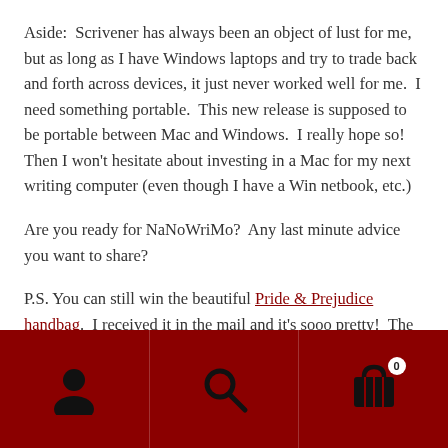Aside:  Scrivener has always been an object of lust for me, but as long as I have Windows laptops and try to trade back and forth across devices, it just never worked well for me.  I need something portable.  This new release is supposed to be portable between Mac and Windows.  I really hope so!  Then I won't hesitate about investing in a Mac for my next writing computer (even though I have a Win netbook, etc.)
Are you ready for NaNoWriMo?  Any last minute advice you want to share?
P.S. You can still win the beautiful Pride & Prejudice handbag.  I received it in the mail and it's sooo pretty!  The
[Figure (other): Dark red navigation bar with three icon sections: user/person icon, search/magnifying glass icon, and shopping cart icon with badge showing 0]